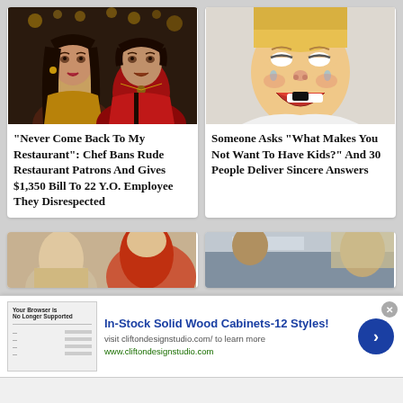[Figure (photo): Couple smiling at camera in a dim restaurant/party setting]
[Figure (photo): Young blonde child crying with mouth open]
"Never Come Back To My Restaurant": Chef Bans Rude Restaurant Patrons And Gives $1,350 Bill To 22 Y.O. Employee They Disrespected
Someone Asks "What Makes You Not Want To Have Kids?" And 30 People Deliver Sincere Answers
[Figure (photo): Partial image of people, partially cropped]
[Figure (photo): Partial image of people on what appears to be public transit]
In-Stock Solid Wood Cabinets-12 Styles! visit cliftondesignstudio.com/ to learn more www.cliftondesignstudio.com